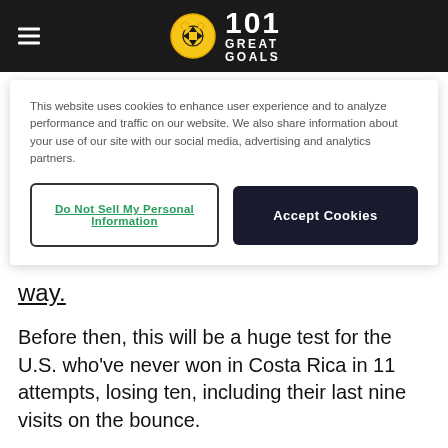101 Great Goals
This website uses cookies to enhance user experience and to analyze performance and traffic on our website. We also share information about your use of our site with our social media, advertising and analytics partners.
Do Not Sell My Personal Information | Accept Cookies
way.
Before then, this will be a huge test for the U.S. who've never won in Costa Rica in 11 attempts, losing ten, including their last nine visits on the bounce.
Will this be the night the United States rubber stamp their place in Qatar?
Under 2.5 goals is 19/40. Draw and both teams to score is